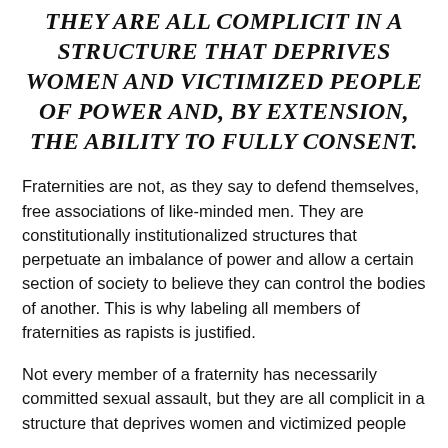THEY ARE ALL COMPLICIT IN A STRUCTURE THAT DEPRIVES WOMEN AND VICTIMIZED PEOPLE OF POWER AND, BY EXTENSION, THE ABILITY TO FULLY CONSENT.
Fraternities are not, as they say to defend themselves, free associations of like-minded men. They are constitutionally institutionalized structures that perpetuate an imbalance of power and allow a certain section of society to believe they can control the bodies of another. This is why labeling all members of fraternities as rapists is justified.
Not every member of a fraternity has necessarily committed sexual assault, but they are all complicit in a structure that deprives women and victimized people